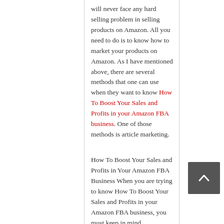will never face any hard selling problem in selling products on Amazon. All you need to do is to know how to market your products on Amazon. As I have mentioned above, there are several methods that one can use when they want to know How To Boost Your Sales and Profits in your Amazon FBA business. One of those methods is article marketing.
How To Boost Your Sales and Profits in Your Amazon FBA Business When you are trying to know How To Boost Your Sales and Profits in your Amazon FBA business, you must keep in mind